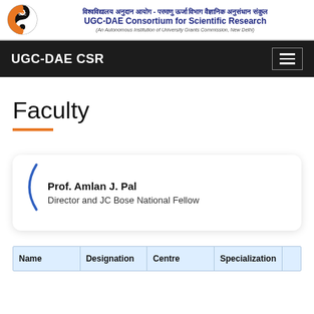विश्वविद्यालय अनुदान आयोग - परमाणु ऊर्जा विभाग वैज्ञानिक अनुसंधान संकुल
UGC-DAE Consortium for Scientific Research
(An Autonomous Institution of University Grants Commission, New Delhi)
UGC-DAE CSR
Faculty
Prof. Amlan J. Pal
Director and JC Bose National Fellow
| Name | Designation | Centre | Specialization |  |
| --- | --- | --- | --- | --- |